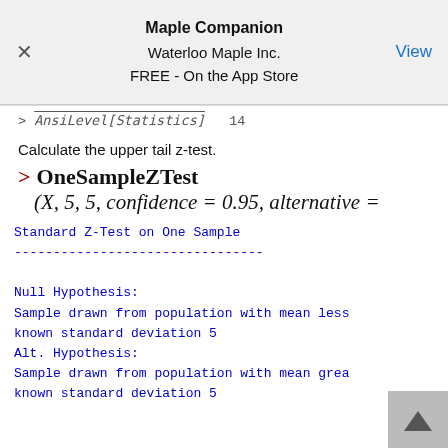Maple Companion
Waterloo Maple Inc.
FREE - On the App Store | View
> AnsiLevel[Statistics]   14
Calculate the upper tail z-test.
Standard Z-Test on One Sample
--------------------------------
Null Hypothesis:
Sample drawn from population with mean less [than 5] known standard deviation 5
Alt. Hypothesis:
Sample drawn from population with mean grea[ter than 5] known standard deviation 5

Sample Size:          10
Sample Mean:          7.6...